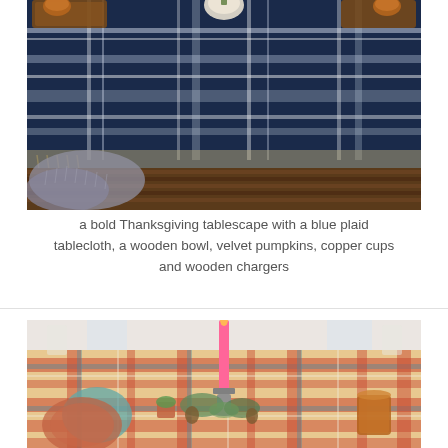[Figure (photo): A Thanksgiving tablescape with a navy blue and white plaid tablecloth covering a wooden table. Copper cups and wooden serving boards are visible at the top corners. Velvet pumpkins and other decorations sit on the table. A gray knitted/crocheted blanket is draped over the front left of the wooden bench/table. Wooden slat bench or crate is visible in the foreground.]
a bold Thanksgiving tablescape with a blue plaid tablecloth, a wooden bowl, velvet pumpkins, copper cups and wooden chargers
[Figure (photo): A colorful plaid tablecloth in red, orange, teal, and white covers a dining table. A pink taper candle in a metal candlestick holder stands in the center. Eucalyptus greenery, pine cones, and small potted succulents are arranged as a centerpiece. Terracotta/rust colored plates are visible on the left side. A copper mug is on the right. The setting appears bright and airy with white chairs visible in the background.]